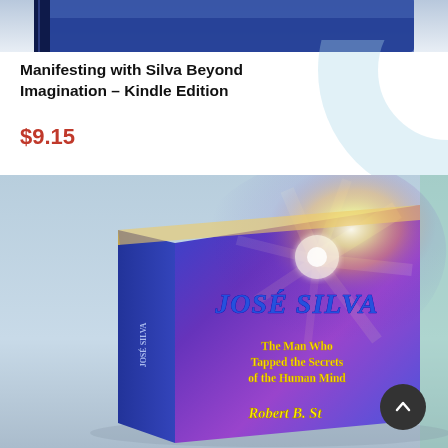[Figure (photo): Top portion of a dark blue book cover partially visible at the top of the page]
Manifesting with Silva Beyond Imagination – Kindle Edition
$9.15
[Figure (photo): 3D rendered book cover for 'José Silva: The Man Who Tapped the Secrets of the Human Mind' by Robert B. Stone, with vibrant blue and purple starburst background, displayed at an angle on a light blue surface]